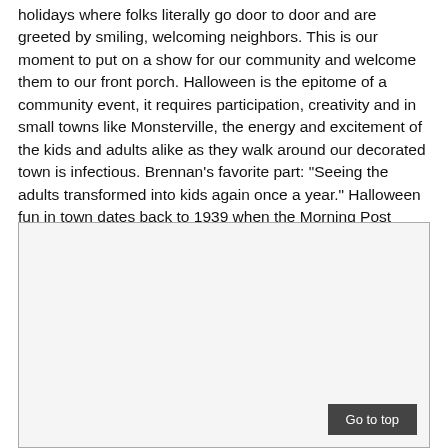holidays where folks literally go door to door and are greeted by smiling, welcoming neighbors. This is our moment to put on a show for our community and welcome them to our front porch. Halloween is the epitome of a community event, it requires participation, creativity and in small towns like Monsterville, the energy and excitement of the kids and adults alike as they walk around our decorated town is infectious. Brennan's favorite part: "Seeing the adults transformed into kids again once a year." Halloween fun in town dates back to 1939 when the Morning Post featured Merchantville's Business Association featured a parade and comic fashion show.
[Figure (photo): A large empty image placeholder box with a light gray background and a thin gray border.]